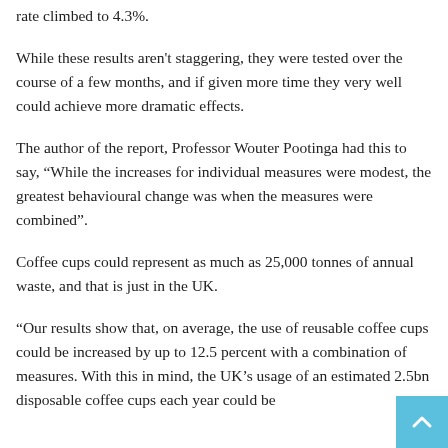rate climbed to 4.3%.
While these results aren't staggering, they were tested over the course of a few months, and if given more time they very well could achieve more dramatic effects.
The author of the report, Professor Wouter Pootinga had this to say, “While the increases for individual measures were modest, the greatest behavioural change was when the measures were combined”.
Coffee cups could represent as much as 25,000 tonnes of annual waste, and that is just in the UK.
“Our results show that, on average, the use of reusable coffee cups could be increased by up to 12.5 percent with a combination of measures. With this in mind, the UK’s usage of an estimated 2.5bn disposable coffee cups each year could be